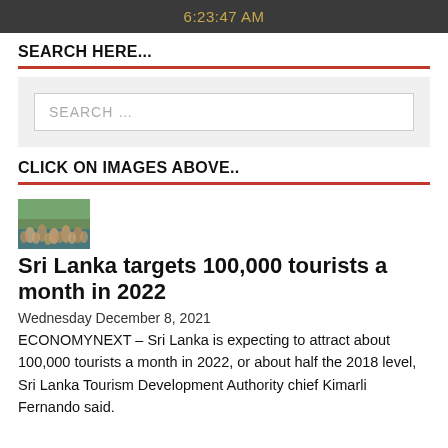6:23:47 AM
SEARCH HERE...
SEARCH ...
CLICK ON IMAGES ABOVE..
[Figure (photo): Small thumbnail image of a crowd of tourists at a beach or tourist site in Sri Lanka]
Sri Lanka targets 100,000 tourists a month in 2022
Wednesday December 8, 2021
ECONOMYNEXT – Sri Lanka is expecting to attract about 100,000 tourists a month in 2022, or about half the 2018 level, Sri Lanka Tourism Development Authority chief Kimarli Fernando said.